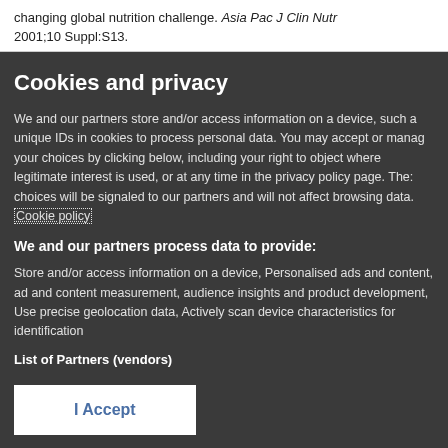changing global nutrition challenge. Asia Pac J Clin Nutr 2001;10 Suppl:S13.
Cookies and privacy
We and our partners store and/or access information on a device, such as unique IDs in cookies to process personal data. You may accept or manage your choices by clicking below, including your right to object where legitimate interest is used, or at any time in the privacy policy page. These choices will be signaled to our partners and will not affect browsing data. Cookie policy
We and our partners process data to provide:
Store and/or access information on a device, Personalised ads and content, ad and content measurement, audience insights and product development, Use precise geolocation data, Actively scan device characteristics for identification
List of Partners (vendors)
I Accept